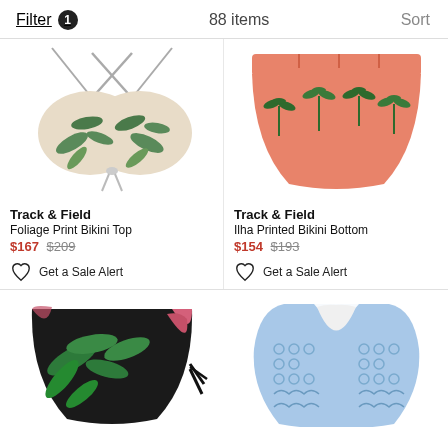Filter 1   88 items   Sort
[Figure (photo): Foliage Print Bikini Top with criss-cross straps and tropical leaf print on beige background]
Track & Field
Foliage Print Bikini Top
$167 $209
Get a Sale Alert
[Figure (photo): Ilha Printed Bikini Bottom in pink/salmon with tropical palm tree print]
Track & Field
Ilha Printed Bikini Bottom
$154 $193
Get a Sale Alert
[Figure (photo): Black bikini bottom with tropical green leaf and pink floral print, with black tie strings]
[Figure (photo): Blue crochet/lace racerback tank top with open back design]